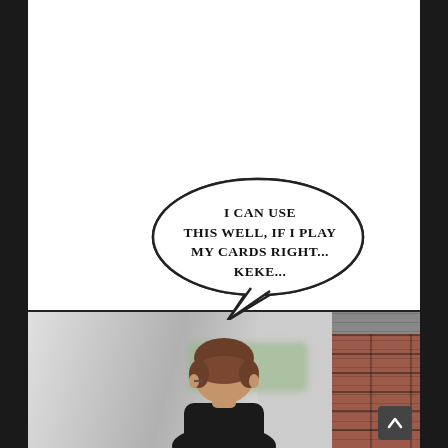[Figure (illustration): Manhwa/webtoon comic page. Top panel: large white empty panel. A speech bubble contains the text 'I CAN USE THIS WELL, IF I PLAY MY CARDS RIGHT... KEKE...' Bottom panel: outdoor scene with a male character seen from behind (brown hair, dark shirt), standing in front of a blurry outdoor background (blurred cars/street) and a brick wall on the right side. A scroll-up arrow button is in the bottom-right corner.]
I CAN USE THIS WELL, IF I PLAY MY CARDS RIGHT... KEKE...